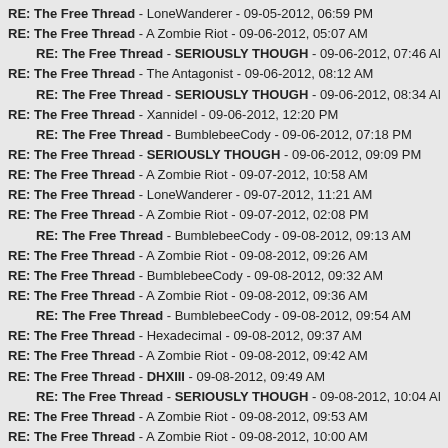RE: The Free Thread - LoneWanderer - 09-05-2012, 06:59 PM
RE: The Free Thread - A Zombie Riot - 09-06-2012, 05:07 AM
RE: The Free Thread - SERIOUSLY THOUGH - 09-06-2012, 07:46 AM
RE: The Free Thread - The Antagonist - 09-06-2012, 08:12 AM
RE: The Free Thread - SERIOUSLY THOUGH - 09-06-2012, 08:34 AM
RE: The Free Thread - Xannidel - 09-06-2012, 12:20 PM
RE: The Free Thread - BumblebeeCody - 09-06-2012, 07:18 PM
RE: The Free Thread - SERIOUSLY THOUGH - 09-06-2012, 09:09 PM
RE: The Free Thread - A Zombie Riot - 09-07-2012, 10:58 AM
RE: The Free Thread - LoneWanderer - 09-07-2012, 11:21 AM
RE: The Free Thread - A Zombie Riot - 09-07-2012, 02:08 PM
RE: The Free Thread - BumblebeeCody - 09-08-2012, 09:13 AM
RE: The Free Thread - A Zombie Riot - 09-08-2012, 09:26 AM
RE: The Free Thread - BumblebeeCody - 09-08-2012, 09:32 AM
RE: The Free Thread - A Zombie Riot - 09-08-2012, 09:36 AM
RE: The Free Thread - BumblebeeCody - 09-08-2012, 09:54 AM
RE: The Free Thread - Hexadecimal - 09-08-2012, 09:37 AM
RE: The Free Thread - A Zombie Riot - 09-08-2012, 09:42 AM
RE: The Free Thread - DHXIII - 09-08-2012, 09:49 AM
RE: The Free Thread - SERIOUSLY THOUGH - 09-08-2012, 10:04 AM
RE: The Free Thread - A Zombie Riot - 09-08-2012, 09:53 AM
RE: The Free Thread - A Zombie Riot - 09-08-2012, 10:00 AM
RE: The Free Thread - Sirion - 09-08-2012, 04:21 PM
RE: The Free Thread - SERIOUSLY THOUGH - 09-08-2012, 09:22 PM
RE: The Free Thread - The Antagonist - 09-08-2012, 09:04 AM